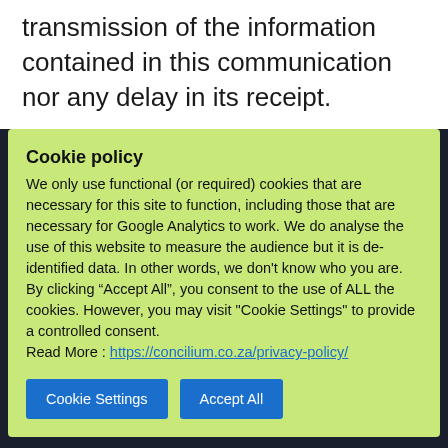transmission of the information contained in this communication nor any delay in its receipt.
Cookie policy
We only use functional (or required) cookies that are necessary for this site to function, including those that are necessary for Google Analytics to work. We do analyse the use of this website to measure the audience but it is de-identified data. In other words, we don't know who you are.
By clicking “Accept All”, you consent to the use of ALL the cookies. However, you may visit "Cookie Settings" to provide a controlled consent.
Read More : https://concilium.co.za/privacy-policy/
reputation and refined their expertise in leading professional technology companies. They saw the opportunity to apply an enabling, problem-solving management style to an environment